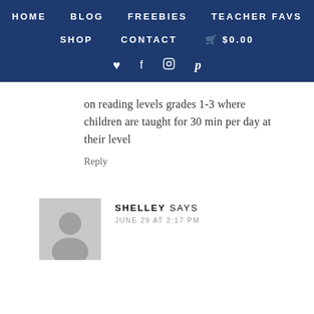HOME  BLOG  FREEBIES  TEACHER FAVS  SHOP  CONTACT  $0.00
on reading levels grades 1-3 where children are taught for 30 min per day at their level
Reply
SHELLEY SAYS
JUNE 29 AT 2:17 PM